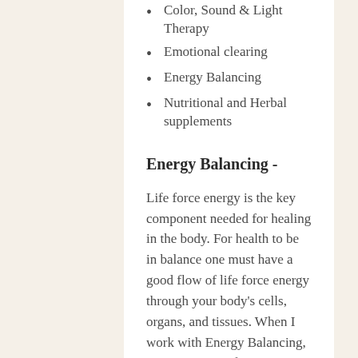Color, Sound & Light Therapy
Emotional clearing
Energy Balancing
Nutritional and Herbal supplements
Energy Balancing -
Life force energy is the key component needed for healing in the body. For health to be in balance one must have a good flow of life force energy through your body's cells, organs, and tissues. When I work with Energy Balancing, I use a variety of energy healing techniques such as Quantum Touch, Color, Sound and Light Therapy, Medical QiGong and Reconnective Healing to raise the life force energy in the body. This brings the healing potential of the body to a state of balance where even instantaneous healing can occur. It also